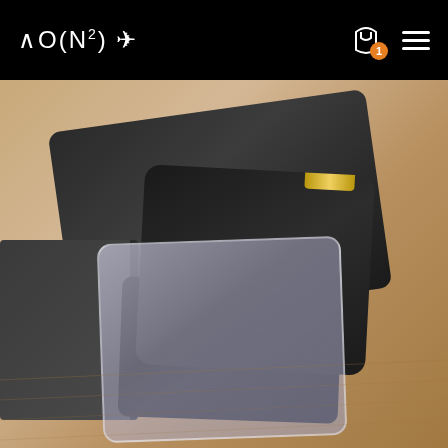AON² ✈ navigation bar with cart icon (badge: 1) and hamburger menu
[Figure (photo): Product photo showing a camera screen protector accessory kit on a wooden surface. Includes a dark black microfiber cleaning bag labeled 'Screen Protector Accessories', a black lens tray/holder, a transparent glass screen protector panel, and a cleaning cloth. A gold pull tab is visible on the screen protector.]